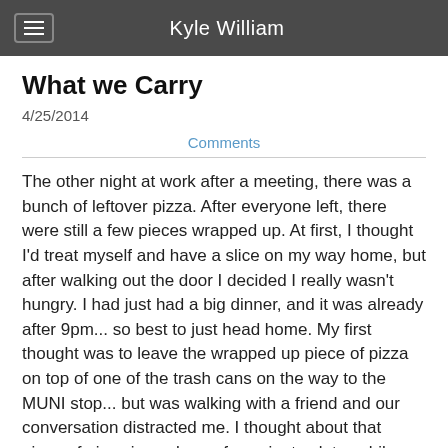Kyle William
What we Carry
4/25/2014
Comments
The other night at work after a meeting, there was a bunch of leftover pizza. After everyone left, there were still a few pieces wrapped up. At first, I thought I'd treat myself and have a slice on my way home, but after walking out the door I decided I really wasn't hungry. I had just had a big dinner, and it was already after 9pm... so best to just head home. My first thought was to leave the wrapped up piece of pizza on top of one of the trash cans on the way to the MUNI stop... but was walking with a friend and our conversation distracted me. I thought about that piece of pizza in my bag a few minutes later while underground waiting for the train.
Then it was time to make my connection. I leave the underground station and transfer to a bus which takes me home. It has started to